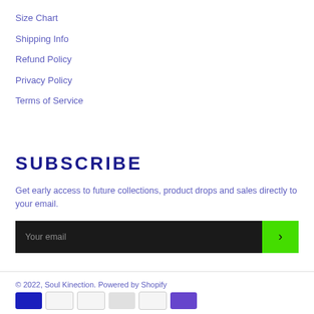Size Chart
Shipping Info
Refund Policy
Privacy Policy
Terms of Service
SUBSCRIBE
Get early access to future collections, product drops and sales directly to your email.
Your email
© 2022, Soul Kinection. Powered by Shopify